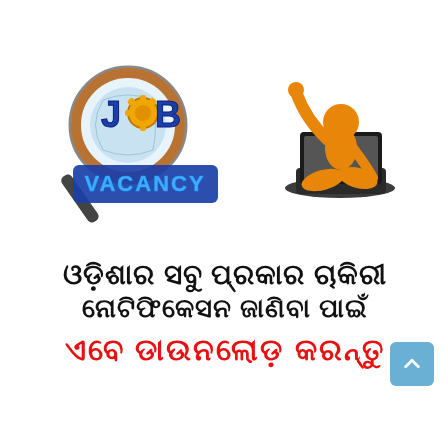[Figure (illustration): Left side: 3D 'JOB VACANCY' text logo with magnifying glass and gear icon. Right side: orange cartoon figure sitting behind an open laptop with one arm raised in celebration.]
ଓଡ଼ିଶାର ସବୁ ପ୍ରକାର ଚାକିରୀ ନୋଟିଫିକେସନ ଜାଣିବା ପାଇଁ
ଏବେ ଡାଉନଲୋଡ଼ କରନ୍ତୁ